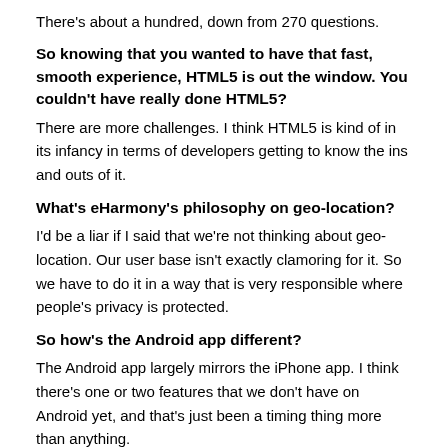There's about a hundred, down from 270 questions.
So knowing that you wanted to have that fast, smooth experience, HTML5 is out the window. You couldn't have really done HTML5?
There are more challenges. I think HTML5 is kind of in its infancy in terms of developers getting to know the ins and outs of it.
What's eHarmony's philosophy on geo-location?
I'd be a liar if I said that we're not thinking about geo-location. Our user base isn't exactly clamoring for it. So we have to do it in a way that is very responsible where people's privacy is protected.
So how's the Android app different?
The Android app largely mirrors the iPhone app. I think there's one or two features that we don't have on Android yet, and that's just been a timing thing more than anything.
Is there much difference in the monetization between the two apps?
We do see two slightly different types of people that use the iPhone